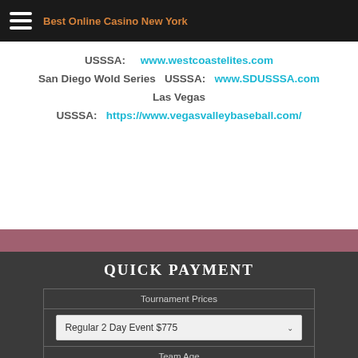Best Online Casino New York
USSSA:    www.westcoastelites.com
San Diego Wold Series  USSSA:     www.SDUSSSA.com
Las Vegas
USSSA:   https://www.vegasvalleybaseball.com/
QUICK PAYMENT
| Tournament Prices |
| --- |
| Regular 2 Day Event $775 |
| Team Age |
Tournament Prices
Regular 2 Day Event $775
Team Age